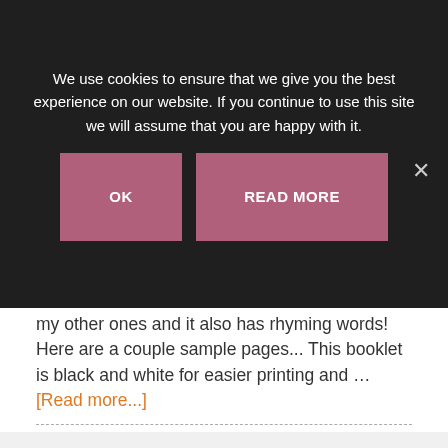We use cookies to ensure that we give you the best experience on our website. If you continue to use this site we will assume that you are happy with it.
OK
READ MORE
my other ones and it also has rhyming words! Here are a couple sample pages... This booklet is black and white for easier printing and … [Read more...]
Filed Under: Beginning Readers
Tagged With: sight word readers, sight words